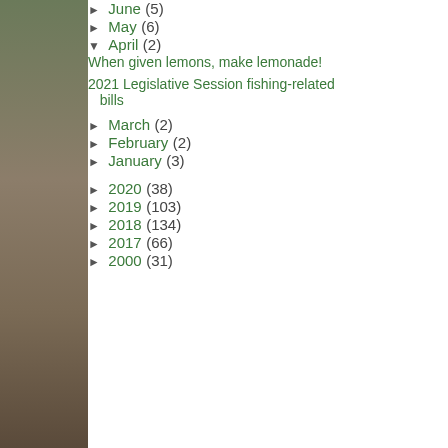► June (5)
► May (6)
▼ April (2)
When given lemons, make lemonade!
2021 Legislative Session fishing-related bills
► March (2)
► February (2)
► January (3)
► 2020 (38)
► 2019 (103)
► 2018 (134)
► 2017 (66)
► 2000 (31)